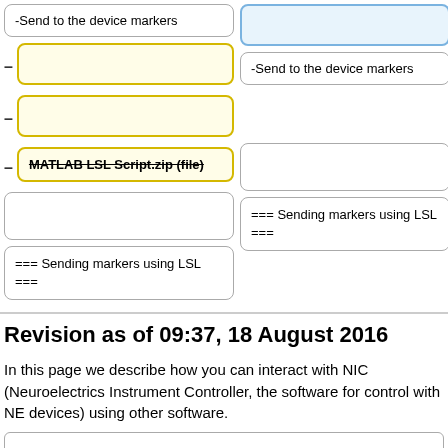-Send to the device markers
-Send to the device markers
MATLAB LSL Script.zip (file)
=== Sending markers using LSL ===
=== Sending markers using LSL ===
Revision as of 09:37, 18 August 2016
In this page we describe how you can interact with NIC (Neuroelectrics Instrument Controller, the software for control with NE devices) using other software.